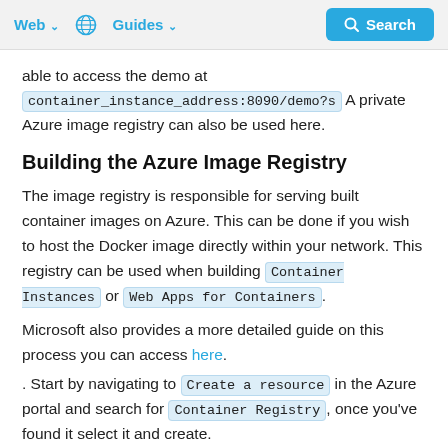Web  🌐  Guides  Search
able to access the demo at container_instance_address:8090/demo?s A private Azure image registry can also be used here.
Building the Azure Image Registry
The image registry is responsible for serving built container images on Azure. This can be done if you wish to host the Docker image directly within your network. This registry can be used when building Container Instances or Web Apps for Containers.
Microsoft also provides a more detailed guide on this process you can access here.
. Start by navigating to Create a resource in the Azure portal and search for Container Registry, once you've found it select it and create.